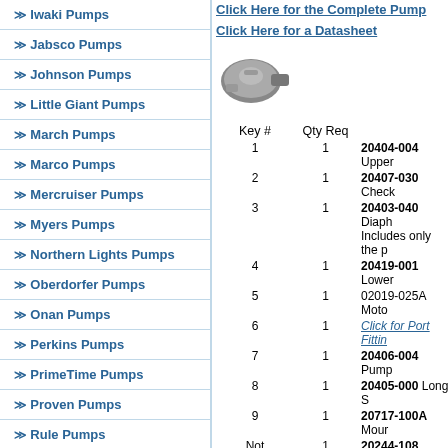Iwaki Pumps
Jabsco Pumps
Johnson Pumps
Little Giant Pumps
March Pumps
Marco Pumps
Mercruiser Pumps
Myers Pumps
Northern Lights Pumps
Oberdorfer Pumps
Onan Pumps
Perkins Pumps
PrimeTime Pumps
Proven Pumps
Rule Pumps
Click Here for the Complete Pump
Click Here for a Datasheet
[Figure (photo): Photo of a small pump assembly]
| Key # | Qty Req |  |
| --- | --- | --- |
| 1 | 1 | 20404-004 Upper |
| 2 | 1 | 20407-030 Check |
| 3 | 1 | 20403-040 Diaph... Includes only the p |
| 4 | 1 | 20419-001 Lower |
| 5 | 1 | 02019-025A Moto |
| 6 | 1 | Click for Port Fittin |
| 7 | 1 | 20406-004 Pump |
| 8 | 1 | 20405-000 Long S |
| 9 | 1 | 20717-100A Mour |
| Not Numbered | 1 | 20244-108 Dumm |
| Not Shown | 1 | 20998-003A Smal |
| Not Shown | 1 | 20408-000 Port S |
| Not Shown | 1 | 20409-043 Servic |
Enter all the quantities you want, click any O